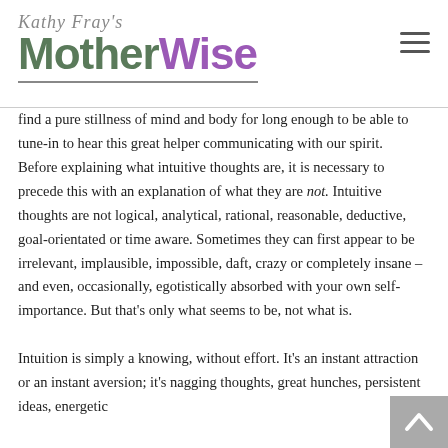Kathy Fray's MotherWise
find a pure stillness of mind and body for long enough to be able to tune-in to hear this great helper communicating with our spirit. Before explaining what intuitive thoughts are, it is necessary to precede this with an explanation of what they are not. Intuitive thoughts are not logical, analytical, rational, reasonable, deductive, goal-orientated or time aware. Sometimes they can first appear to be irrelevant, implausible, impossible, daft, crazy or completely insane – and even, occasionally, egotistically absorbed with your own self-importance. But that's only what seems to be, not what is.
Intuition is simply a knowing, without effort. It's an instant attraction or an instant aversion; it's nagging thoughts, great hunches, persistent ideas, energetic